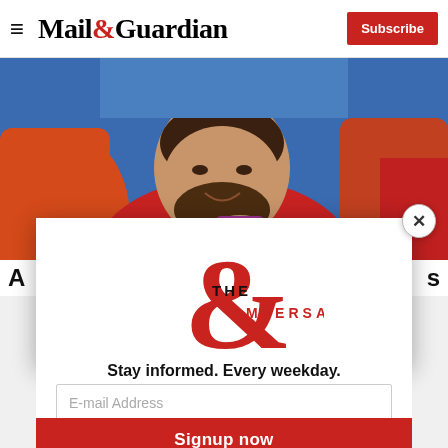Mail&Guardian | Subscribe
[Figure (photo): A man in a red shirt sitting in orange/red chairs, smiling and touching his beard, with blue background]
[Figure (logo): The Ampersand newsletter logo — large red ampersand with 'THE AMPERSAND' text]
Stay informed. Every weekday.
E-mail Address
Signup now